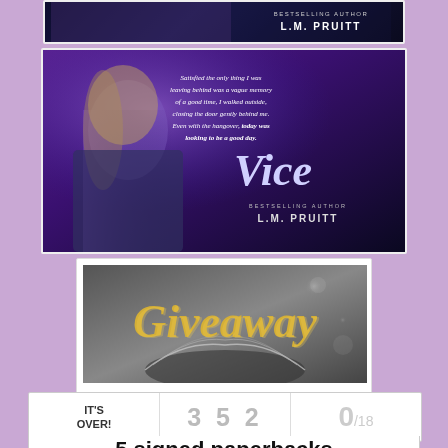[Figure (illustration): Top portion of a book promotional banner for Vice by L.M. Pruitt, partially cut off, showing dark blue/purple design with author name]
[Figure (illustration): Vice book promotional banner by L.M. Pruitt showing a woman with blonde hair and quote: 'Satisfied the only thing I was leaving behind was a vague memory of a good time, I walked outside, closing the door gently behind me. Even with the hangover, today was looking to be a good day.' Title 'Vice' and author 'Bestselling Author L.M. Pruitt']
[Figure (illustration): Giveaway banner image showing 'Giveaway' text in gold italic font over a grayscale background with open book and bokeh circles]
| IT'S OVER! | 352 | 0/18 |
| --- | --- | --- |
5 signed paperbacks of Vice (US ONLY)